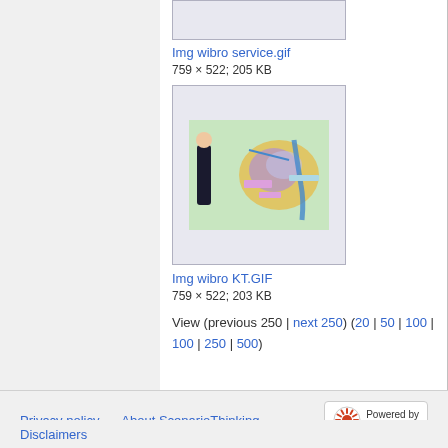[Figure (photo): Top portion of a thumbnail image box (partially visible)]
Img wibro service.gif
759 × 522; 205 KB
[Figure (photo): Thumbnail of Img wibro KT.GIF showing a woman in black suit standing next to a colorful map of a city with Korean labels]
Img wibro KT.GIF
759 × 522; 203 KB
View (previous 250 | next 250) (20 | 50 | 100 | 250 | 500)
Privacy policy   About ScenarioThinking   Disclaimers   Powered by MediaWiki